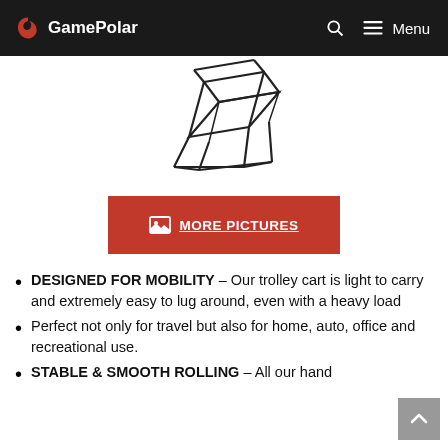GamePolar
[Figure (illustration): Line drawing/sketch of a folding trolley cart viewed from an angle]
MORE PICTURES
DESIGNED FOR MOBILITY – Our trolley cart is light to carry and extremely easy to lug around, even with a heavy load
Perfect not only for travel but also for home, auto, office and recreational use.
STABLE & SMOOTH ROLLING – All our hand